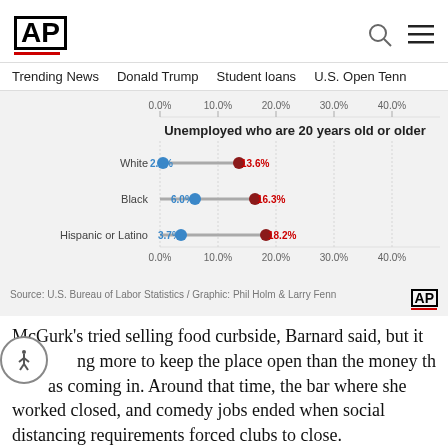AP
Trending News   Donald Trump   Student loans   U.S. Open Tenn
[Figure (grouped-bar-chart): Unemployed who are 20 years old or older]
Source: U.S. Bureau of Labor Statistics / Graphic: Phil Holm & Larry Fenn
McGurk’s tried selling food curbside, Barnard said, but it was costing more to keep the place open than the money that was coming in. Around that time, the bar where she worked closed, and comedy jobs ended when social distancing requirements forced clubs to close.